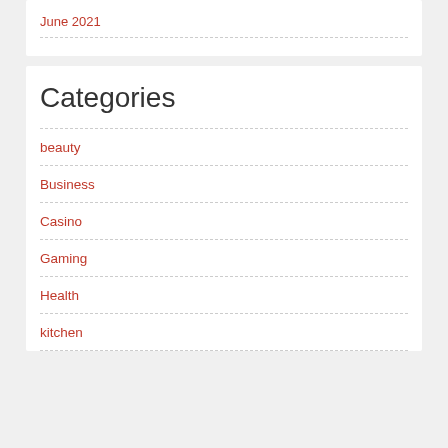June 2021
Categories
beauty
Business
Casino
Gaming
Health
kitchen